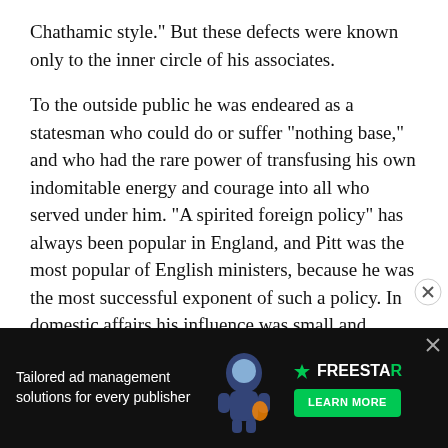Chathamic style." But these defects were known only to the inner circle of his associates.
To the outside public he was endeared as a statesman who could do or suffer "nothing base," and who had the rare power of transfusing his own indomitable energy and courage into all who served under him. "A spirited foreign policy" has always been popular in England, and Pitt was the most popular of English ministers, because he was the most successful exponent of such a policy. In domestic affairs his influence was small and almost entirely indirect. He himself confessed his unfitness for dealing with questions of finance. The commercial prosperity that was produced by his war policy was in a great part delusive, a prosperity so produced must always be, though it had permanent effects of the highest moment in the rise of such c… was a remote… nor foreseen.
[Figure (other): Advertisement banner for Freestar ad management solutions, dark background with illustrated astronaut/space character, green Learn More button]